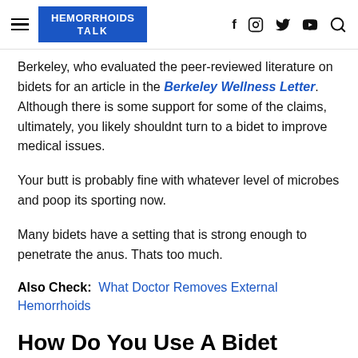HEMORRHOIDS TALK
Berkeley, who evaluated the peer-reviewed literature on bidets for an article in the Berkeley Wellness Letter. Although there is some support for some of the claims, ultimately, you likely shouldnt turn to a bidet to improve medical issues.
Your butt is probably fine with whatever level of microbes and poop its sporting now.
Many bidets have a setting that is strong enough to penetrate the anus. Thats too much.
Also Check: What Doctor Removes External Hemorrhoids
How Do You Use A Bidet Sprayer Without Making A Mess